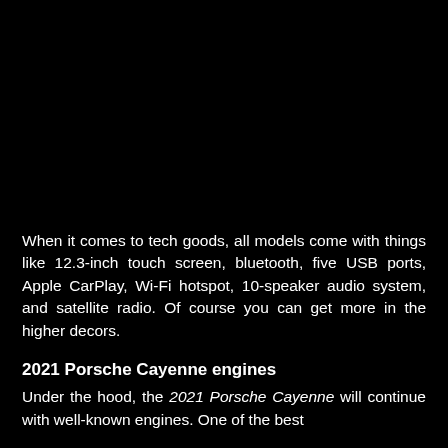[Figure (photo): Black image area occupying the upper portion of the page, appears to be a dark/black photograph]
When it comes to tech goods, all models come with things like 12.3-inch touch screen, bluetooth, five USB ports, Apple CarPlay, Wi-Fi hotspot, 10-speaker audio system, and satellite radio. Of course you can get more in the higher decors.
2021 Porsche Cayenne engines
Under the hood, the 2021 Porsche Cayenne will continue with well-known engines. One of the best